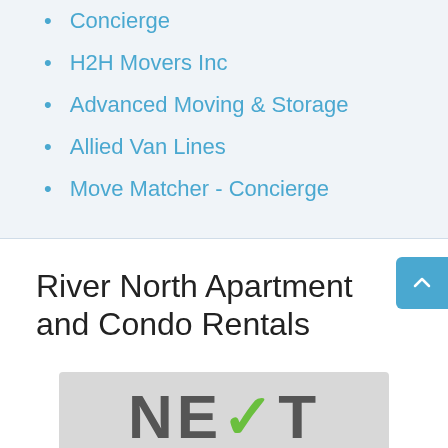Concierge
H2H Movers Inc
Advanced Moving & Storage
Allied Van Lines
Move Matcher - Concierge
River North Apartment and Condo Rentals
[Figure (logo): NEXT logo with green checkmark replacing the X letter]